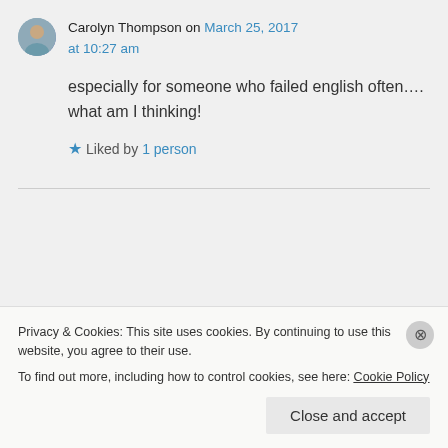Carolyn Thompson on March 25, 2017 at 10:27 am
especially for someone who failed english often…. what am I thinking!
Liked by 1 person
Patti Clark on March 25, 2017 at 11:40
Privacy & Cookies: This site uses cookies. By continuing to use this website, you agree to their use. To find out more, including how to control cookies, see here: Cookie Policy
Close and accept